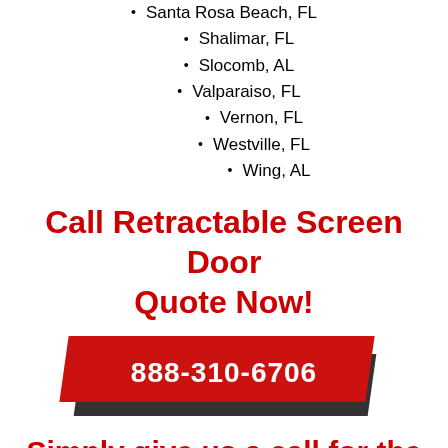Santa Rosa Beach, FL
Shalimar, FL
Slocomb, AL
Valparaiso, FL
Vernon, FL
Westville, FL
Wing, AL
Call Retractable Screen Door Quote Now!
888-310-6706
Simply give us a call for the